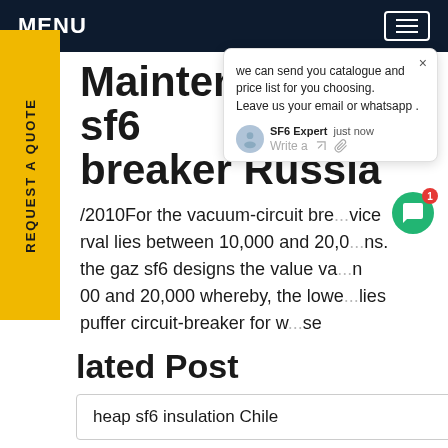MENU
Maintenance vcb sf6 breaker Russia
/2010For the vacuum-circuit bre...vice rval lies between 10,000 and 20,0...ns. the gaz sf6 designs the value va...n 00 and 20,000 whereby, the lowe...lies puffer circuit-breaker for w...se
[Figure (screenshot): Chat popup overlay showing: 'we can send you catalogue and price list for you choosing. Leave us your email or whatsapp.' with SF6 Expert avatar, 'just now' timestamp, Write a message field, and thumbs up/attachment icons. Green chat bubble button with red badge '1' visible on right side.]
lated Post
heap sf6 insulation Chile
new sulfur hexafluoride cost North America